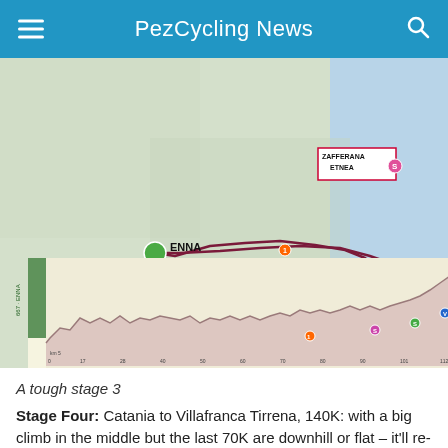PezCycling News
[Figure (map): Stage route map of Sicily showing route from Enna to Zafferana Etnea with elevation profile below. Map shows cycling stage route marked in dark red/maroon line. Key locations labeled: ENNA (start), ZAFFERANA ETNEA (finish), CATANIA. Elevation profile shows mountainous terrain with a major climb at the end (1793m ETNA). Various km markers shown.]
A tough stage 3
Stage Four: Catania to Villafranca Tirrena, 140K: with a big climb in the middle but the last 70K are downhill or flat – it'll re-group.